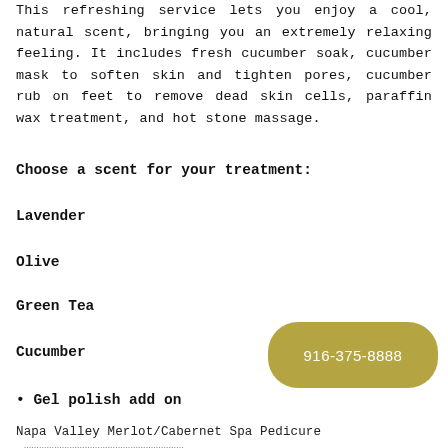This refreshing service lets you enjoy a cool, natural scent, bringing you an extremely relaxing feeling. It includes fresh cucumber soak, cucumber mask to soften skin and tighten pores, cucumber rub on feet to remove dead skin cells, paraffin wax treatment, and hot stone massage.
Choose a scent for your treatment:
Lavender
Olive
Green Tea
Cucumber
• Gel polish add on
Napa Valley Merlot/Cabernet Spa Pedicure ………………………………………………………